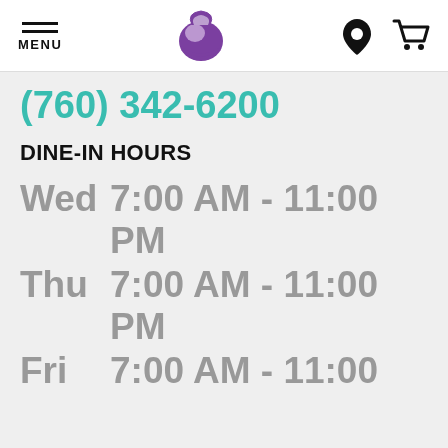MENU | Taco Bell Logo | Location Icon | Cart Icon
(760) 342-6200
DINE-IN HOURS
Wed  7:00 AM - 11:00 PM
Thu  7:00 AM - 11:00 PM
Fri   7:00 AM - 11:00